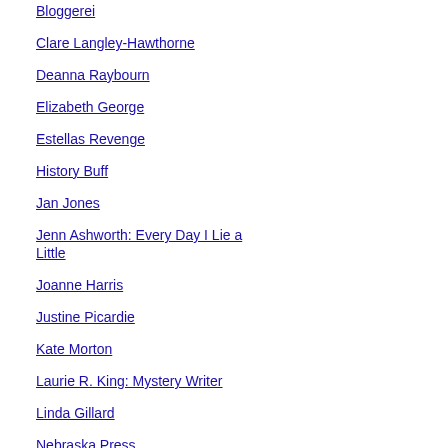Bloggerei
Clare Langley-Hawthorne
Deanna Raybourn
Elizabeth George
Estellas Revenge
History Buff
Jan Jones
Jenn Ashworth: Every Day I Lie a Little
Joanne Harris
Justine Picardie
Kate Morton
Laurie R. King: Mystery Writer
Linda Gillard
Nebraska Press
Overbooked: a resource for readers
Tasha Alexander
TBR Books (Litlove)
The Hesperus Press Blog
[Figure (illustration): Small avatar image with blue wavy water pattern]
Danielle said...
Litlove--She rea romance well a them up now a was a bit weigh Heyer, but all d way. Cornflower--It w think it was a g those readers u It was a nice ba drama with a d glad you picked Iliana--This is d your list. I must mysteries--may mystery I'm wor moment. I do li by one author o sometimes it ca Jaimie--Heyer d one. Poor Jenny she was infinitel